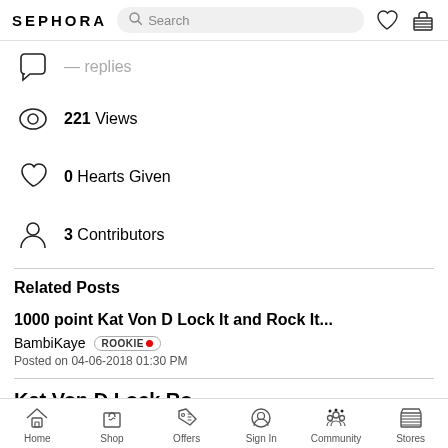SEPHORA Search
221 Views
0 Hearts Given
3 Contributors
Related Posts
1000 point Kat Von D Lock It and Rock It...
BambiKaye ROOKIE Posted on 04-06-2018 01:30 PM
Home Shop Offers Sign In Community Stores